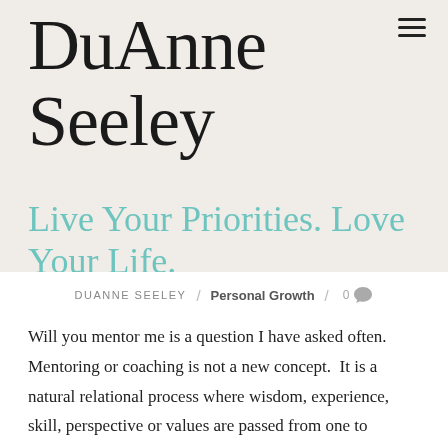DuAnne Seeley
Live Your Priorities. Love Your Life.
DUANNE SEELEY / Personal Growth / 0 comments
Will you mentor me is a question I have asked often. Mentoring or coaching is not a new concept.  It is a natural relational process where wisdom, experience, skill, perspective or values are passed from one to another.